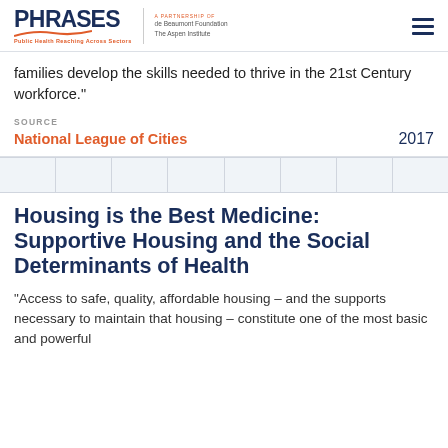PHRASES — Public Health Reaching Across Sectors — A Partnership of de Beaumont Foundation, The Aspen Institute
families develop the skills needed to thrive in the 21st Century workforce."
SOURCE
National League of Cities    2017
Housing is the Best Medicine: Supportive Housing and the Social Determinants of Health
"Access to safe, quality, affordable housing – and the supports necessary to maintain that housing – constitute one of the most basic and powerful